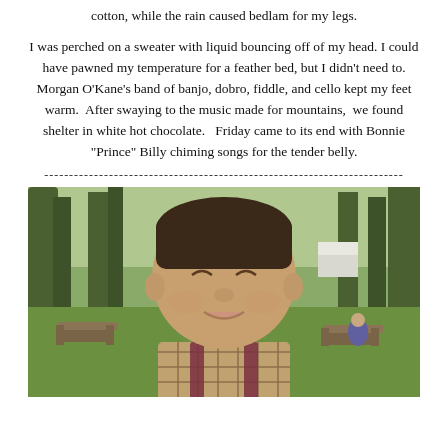cotton, while the rain caused bedlam for my legs.
I was perched on a sweater with liquid bouncing off of my head. I could have pawned my temperature for a feather bed, but I didn't need to. Morgan O'Kane's band of banjo, dobro, fiddle, and cello kept my feet warm.  After swaying to the music made for mountains,  we found shelter in white hot chocolate.   Friday came to its end with Bonnie "Prince" Billy chiming songs for the tender belly.
------------------------------------------------------------------------
[Figure (photo): A person with closed eyes and a slight smile, wearing a plaid shirt and dark backpack straps, standing outdoors in a park with trees, grass, picnic tables, and a white tent visible in the background.]